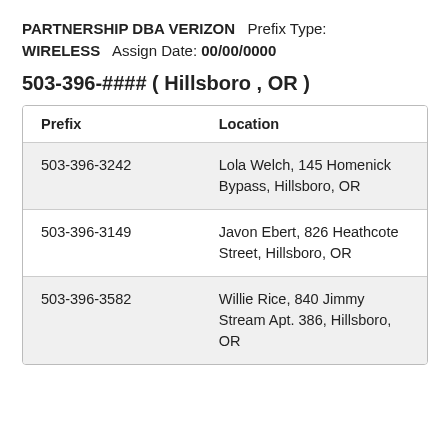PARTNERSHIP DBA VERIZON   Prefix Type: WIRELESS   Assign Date: 00/00/0000
503-396-#### ( Hillsboro , OR )
| Prefix | Location |
| --- | --- |
| 503-396-3242 | Lola Welch, 145 Homenick Bypass, Hillsboro, OR |
| 503-396-3149 | Javon Ebert, 826 Heathcote Street, Hillsboro, OR |
| 503-396-3582 | Willie Rice, 840 Jimmy Stream Apt. 386, Hillsboro, OR |